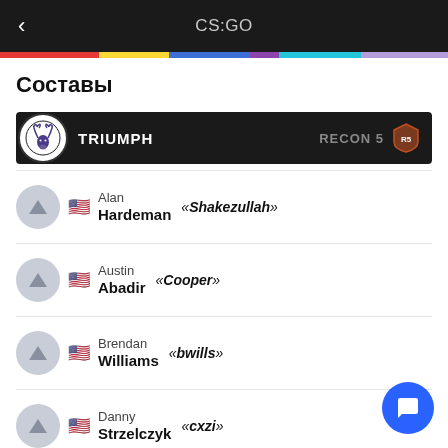CS:GO
Составы
TRIUMPH   RECON 5
Alan Hardeman «Shakezullah»
Austin Abadir «Cooper»
Brendan Williams «bwills»
Danny Strzelczyk «cxzi»
Wesley Harris «viz»